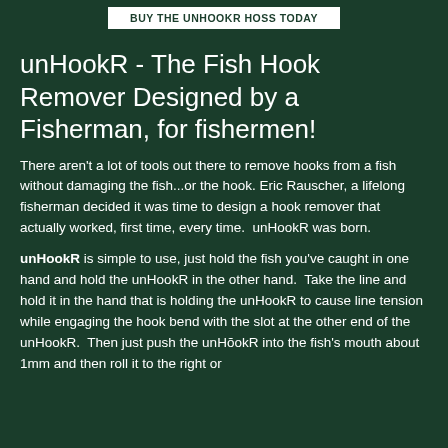BUY THE UNHOOKR HOSS TODAY
unHookR - The Fish Hook Remover Designed by a Fisherman, for fishermen!
There aren't a lot of tools out there to remove hooks from a fish without damaging the fish...or the hook. Eric Rauscher, a lifelong fisherman decided it was time to design a hook remover that actually worked, first time, every time.  unHookR was born.
unHookR is simple to use, just hold the fish you've caught in one hand and hold the unHookR in the other hand.  Take the line and hold it in the hand that is holding the unHookR to cause line tension while engaging the hook bend with the slot at the other end of the unHookR.  Then just push the unHookR into the fish's mouth about 1mm and then roll it to the right or